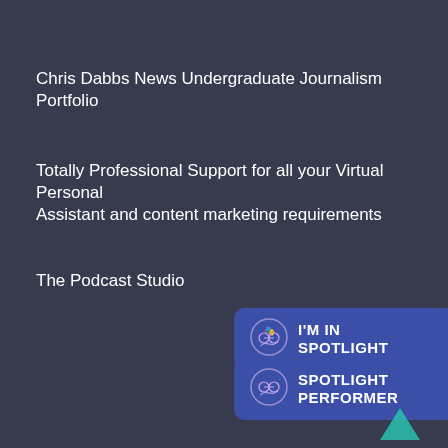Chris Dabbs News Undergraduate Journalism Portfolio
Totally Professional Support for all your Virtual Personal Assistant and content marketing requirements
The Podcast Studio
[Figure (logo): I'M IN SPOTLIGHT badge with purple background and Spotlight logo icon]
[Figure (logo): SPOTLIGHT PERFORMER badge with purple background and Spotlight logo icon]
[Figure (illustration): Teal upward-pointing chevron/arrow scroll-to-top button]